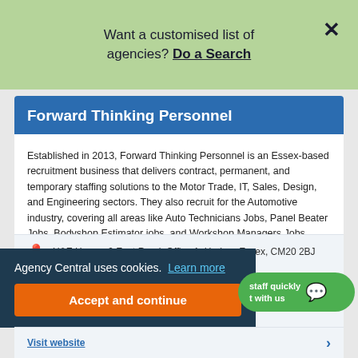Want a customised list of agencies? Do a Search
Forward Thinking Personnel
Established in 2013, Forward Thinking Personnel is an Essex-based recruitment business that delivers contract, permanent, and temporary staffing solutions to the Motor Trade, IT, Sales, Design, and Engineering sectors. They also recruit for the Automotive industry, covering all areas like Auto Technicians Jobs, Panel Beater Jobs, Bodyshop Estimator jobs, and Workshop Managers Jobs.
H&E House, 9 East Road, Office 1, Harlow, Essex, CM20 2BJ
Agency Central uses cookies. Learn more
Accept and continue
staff quickly t with us
Visit website